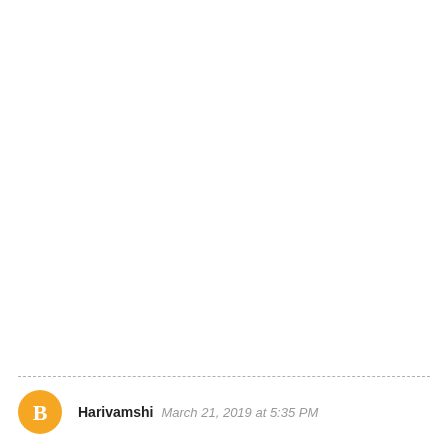Harivamshi  March 21, 2019 at 5:35 PM